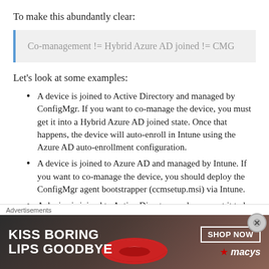To make this abundantly clear:
Co-management != Hybrid Azure AD joined != CMG
Let's look at some examples:
A device is joined to Active Directory and managed by ConfigMgr.  If you want to co-manage the device, you must get it into a Hybrid Azure AD joined state.  Once that happens, the device will auto-enroll in Intune using the Azure AD auto-enrollment configuration.
A device is joined to Azure AD and managed by Intune.  If you want to co-manage the device, you should deploy the ConfigMgr agent bootstrapper (ccmsetup.msi) via Intune.
A device is joined to Active Directory and you want it to be managed by Intune, and you aren't using ConfigMgr.  As
[Figure (infographic): Advertisement banner for Macy's lip products with text 'KISS BORING LIPS GOODBYE' and 'SHOP NOW' button with Macy's star logo]